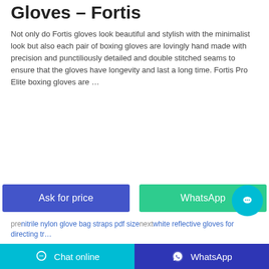Gloves – Fortis
Not only do Fortis gloves look beautiful and stylish with the minimalist look but also each pair of boxing gloves are lovingly hand made with precision and punctiliously detailed and double stitched seams to ensure that the gloves have longevity and last a long time. Fortis Pro Elite boxing gloves are …
[Figure (other): Two buttons: 'Ask for price' (blue) and 'WhatsApp' (green)]
pre nitrile nylon glove bag straps pdf size next white reflective gloves for directing tr…
Related Posts
black gauntlet nitrile gloves for women
japanese baseball glove manufacturers
Chat online   WhatsApp